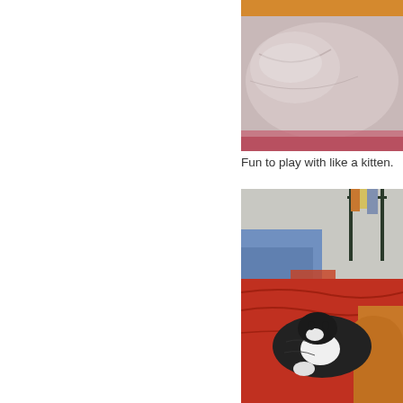[Figure (photo): Photo of a white/light pink pillow or cushion on a bed with orange/tan cat fur visible at top, partially cropped]
Fun to play with like a kitten.
[Figure (photo): Photo of a black and white cat resting on red blankets/bedding, with another orange/tan cat visible, blue clothing and a metal shelf rack in the background]